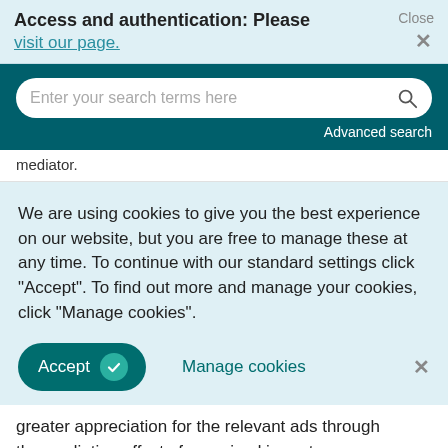Access and authentication: Please visit our page.
[Figure (screenshot): Search bar with teal background, rounded white input field with placeholder 'Enter your search terms here', magnifying glass icon, and 'Advanced search' link on the right.]
mediator.
We are using cookies to give you the best experience on our website, but you are free to manage these at any time. To continue with our standard settings click "Accept". To find out more and manage your cookies, click "Manage cookies".
Accept | Manage cookies
greater appreciation for the relevant ads through the mediating effect of perceived importance